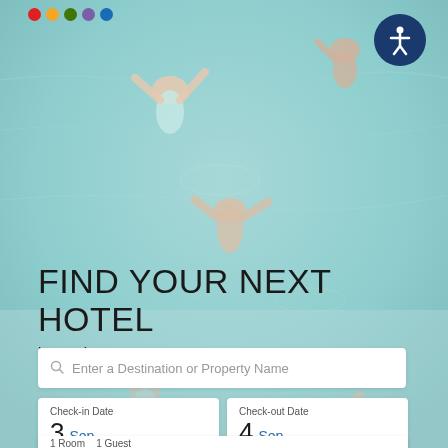[Figure (photo): Aerial view of people swimming in a light-blue pool, taken from above]
[Figure (logo): Agoda logo dots: red, orange, green, purple, blue circles]
[Figure (other): Accessibility icon button (person with arms out, circle) in dark navy]
FIND YOUR NEXT HOTEL
in agoda.com
Enter a Destination or Property Name
Check-in Date
3 Sep Sat
Check-out Date
4 Sep Sun